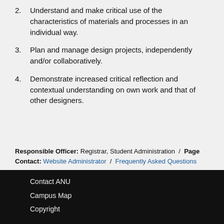2. Understand and make critical use of the characteristics of materials and processes in an individual way.
3. Plan and manage design projects, independently and/or collaboratively.
4. Demonstrate increased critical reflection and contextual understanding on own work and that of other designers.
Responsible Officer: Registrar, Student Administration / Page Contact: Website Administrator / Frequently Asked Questions
Contact ANU
Campus Map
Copyright